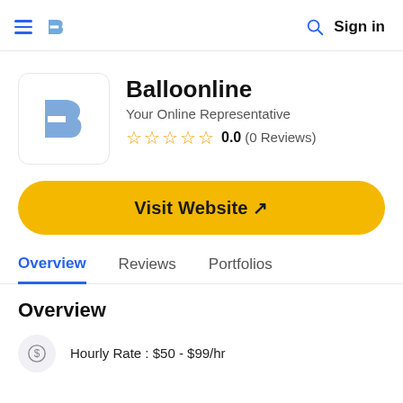Balloonline — Freelancer-style marketplace header with hamburger menu, logo, search, and Sign in
Balloonline
Your Online Representative
0.0 (0 Reviews)
Visit Website ↗
Overview
Reviews
Portfolios
Overview
Hourly Rate : $50 - $99/hr